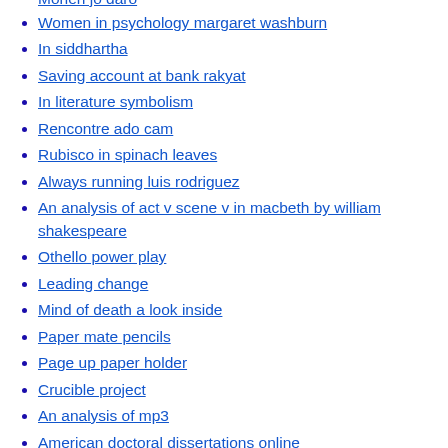Women in psychology margaret washburn
In siddhartha
Saving account at bank rakyat
In literature symbolism
Rencontre ado cam
Rubisco in spinach leaves
Always running luis rodriguez
An analysis of act v scene v in macbeth by william shakespeare
Othello power play
Leading change
Mind of death a look inside
Paper mate pencils
Page up paper holder
Crucible project
An analysis of mp3
American doctoral dissertations online
Regwrite autohotkey script